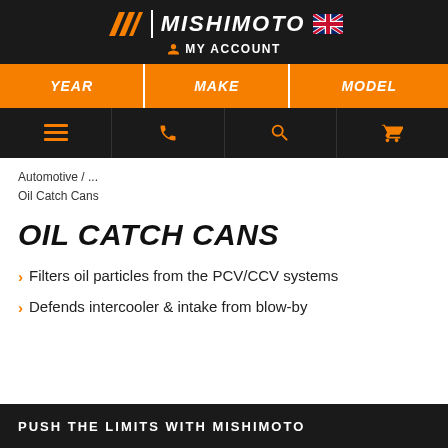MISHIMOTO | MY ACCOUNT
[Figure (screenshot): Mishimoto website header with logo, UK flag, MY ACCOUNT link, YEAR/MAKE/MODEL vehicle selector bar, and navigation icon bar with menu, phone, search, and cart icons]
Automotive / ...
Oil Catch Cans
OIL CATCH CANS
Filters oil particles from the PCV/CCV systems
Defends intercooler & intake from blow-by
PUSH THE LIMITS WITH MISHIMOTO